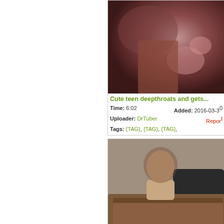[Figure (photo): Thumbnail image for video: Cute teen deepthroats and gets...]
Cute teen deepthroats and gets...
Time: 6:02   Added: 2016-03-30
Uploader: DrTuber   Report
Tags: {TAG}, {TAG}, {TAG},
[Figure (photo): Thumbnail image for video: 18 yo Kayla casting]
18 yo Kayla casting